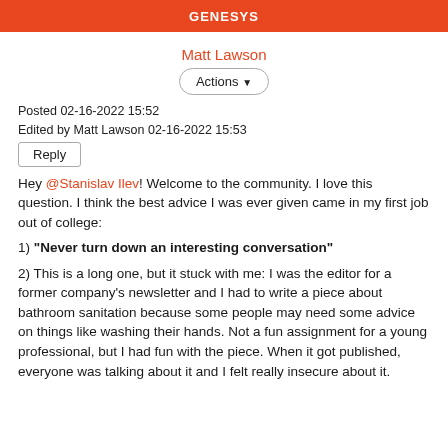GENESYS
Matt Lawson
Actions
Posted 02-16-2022 15:52
Edited by Matt Lawson 02-16-2022 15:53
Reply
Hey @Stanislav Ilev! Welcome to the community. I love this question. I think the best advice I was ever given came in my first job out of college:
1) "Never turn down an interesting conversation"
2) This is a long one, but it stuck with me: I was the editor for a former company's newsletter and I had to write a piece about bathroom sanitation because some people may need some advice on things like washing their hands. Not a fun assignment for a young professional, but I had fun with the piece. When it got published, everyone was talking about it and I felt really insecure about it.